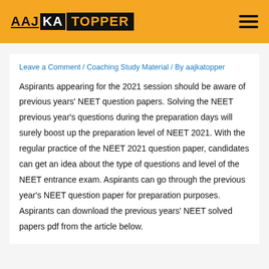AAJ KA TOPPER
Leave a Comment / Coaching Study Material / By aajkatopper
Aspirants appearing for the 2021 session should be aware of previous years' NEET question papers. Solving the NEET previous year's questions during the preparation days will surely boost up the preparation level of NEET 2021. With the regular practice of the NEET 2021 question paper, candidates can get an idea about the type of questions and level of the NEET entrance exam. Aspirants can go through the previous year's NEET question paper for preparation purposes. Aspirants can download the previous years' NEET solved papers pdf from the article below.